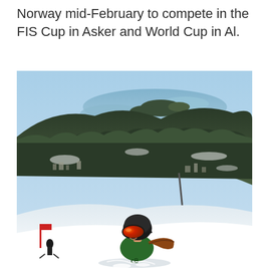Norway mid-February to compete in the FIS Cup in Asker and World Cup in Al.
[Figure (photo): A female skier wearing a green jacket, red-mirrored ski goggles, and a dark helmet stands on a snowy ski slope. In the background, a forested hillside with a town and a lake or fjord visible in the distance under a clear blue sky. A ski lift or cannon is partially visible in the mid-ground.]